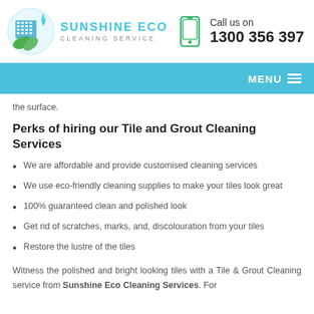[Figure (logo): Sunshine Eco Cleaning Service logo with building and leaf graphic, teal/green colors]
Call us on
1300 356 397
MENU
the surface.
Perks of hiring our Tile and Grout Cleaning Services
We are affordable and provide customised cleaning services
We use eco-friendly cleaning supplies to make your tiles look great
100% guaranteed clean and polished look
Get rid of scratches, marks, and, discolouration from your tiles
Restore the lustre of the tiles
Witness the polished and bright looking tiles with a Tile & Grout Cleaning service from Sunshine Eco Cleaning Services. For